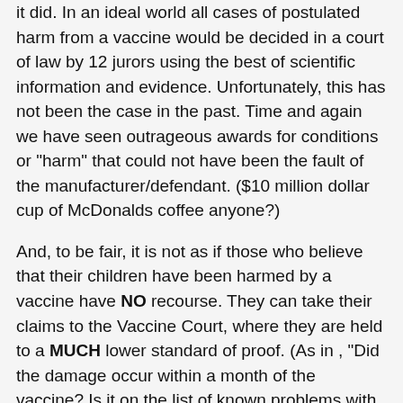it did. In an ideal world all cases of postulated harm from a vaccine would be decided in a court of law by 12 jurors using the best of scientific information and evidence. Unfortunately, this has not been the case in the past. Time and again we have seen outrageous awards for conditions or "harm" that could not have been the fault of the manufacturer/defendant. ($10 million dollar cup of McDonalds coffee anyone?)
And, to be fair, it is not as if those who believe that their children have been harmed by a vaccine have NO recourse. They can take their claims to the Vaccine Court, where they are held to a MUCH lower standard of proof. (As in , "Did the damage occur within a month of the vaccine? Is it on the list of known problems with said vaccine? Is it in [i]any way possible[/i] that the vaccine caused the injury? Award to Plaintiff!!")
It is not like the court hasn't been 'paying out' either. "Since 1988, the no-fault process has led to almost $2 billion in compensation to more than 2,500 families." Simply math says that